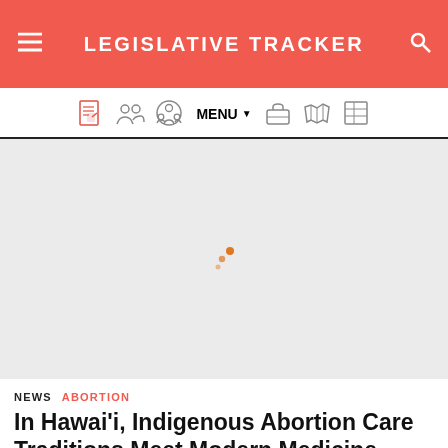LEGISLATIVE TRACKER
[Figure (screenshot): Navigation bar with icons: document, people group, people circle, MENU dropdown, briefcase, US map, grid/table icons]
[Figure (other): Loading spinner (three orange dots) on light gray background]
NEWS  ABORTION
In Hawai'i, Indigenous Abortion Care Traditions Meet Modern Medicine